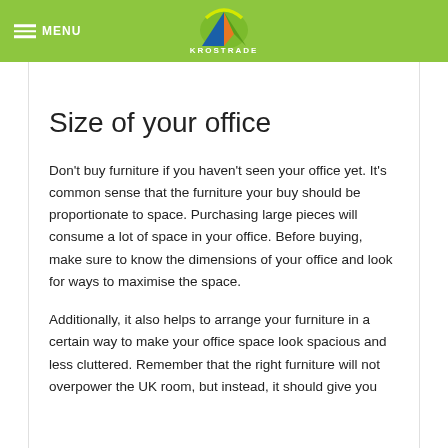MENU | KROSTRADE
Size of your office
Don't buy furniture if you haven't seen your office yet. It's common sense that the furniture your buy should be proportionate to space. Purchasing large pieces will consume a lot of space in your office. Before buying, make sure to know the dimensions of your office and look for ways to maximise the space.
Additionally, it also helps to arrange your furniture in a certain way to make your office space look spacious and less cluttered. Remember that the right furniture will not overpower the UK room, but instead, it should give you